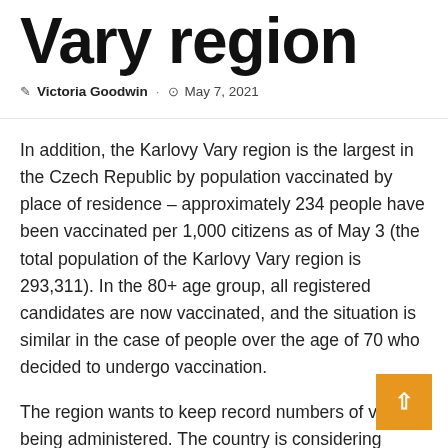Vary region
Victoria Goodwin · May 7, 2021
In addition, the Karlovy Vary region is the largest in the Czech Republic by population vaccinated by place of residence – approximately 234 people have been vaccinated per 1,000 citizens as of May 3 (the total population of the Karlovy Vary region is 293,311). In the 80+ age group, all registered candidates are now vaccinated, and the situation is similar in the case of people over the age of 70 who decided to undergo vaccination.
The region wants to keep record numbers of vaccines being administered. The country is considering opening the option to register vaccination for all age